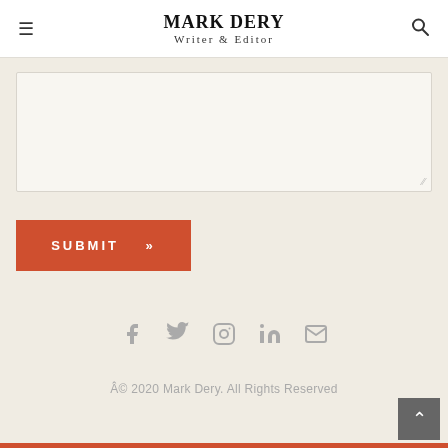MARK DERY
Writer & Editor
[Figure (screenshot): Empty textarea form field with light beige background and resize handle in bottom-right corner]
SUBMIT »
[Figure (infographic): Social media icons row: Facebook, Twitter, Instagram, LinkedIn, Email (mail envelope) — all in gray]
© 2020 Mark Dery. All Rights Reserved